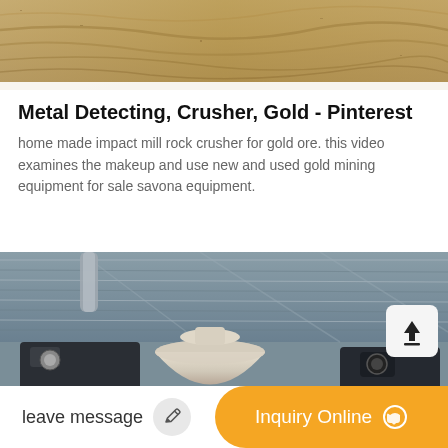[Figure (photo): Aerial or close-up view of sandy/dusty terrain with tracks]
Metal Detecting, Crusher, Gold - Pinterest
home made impact mill rock crusher for gold ore. this video examines the makeup and use new and used gold mining equipment for sale savona equipment.
[Figure (photo): Industrial crusher/cone mill machinery inside a large warehouse with corrugated metal roof]